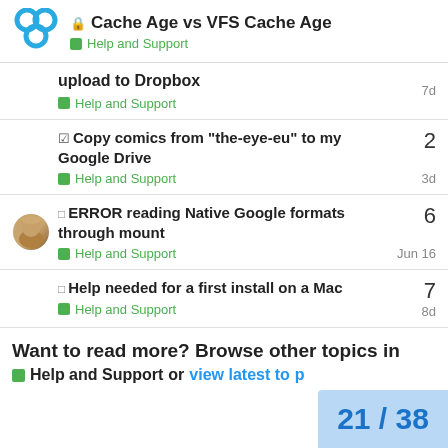Cache Age vs VFS Cache Age — Help and Support
upload to Dropbox — Help and Support — 7d
✓ Copy comics from "the-eye-eu" to my Google Drive — Help and Support — 2 — 3d
□ ERROR reading Native Google formats through mount — Help and Support — 6 — Jun 16
□ Help needed for a first install on a Mac — Help and Support — 7 — 8d
Want to read more? Browse other topics in Help and Support or view latest to...
21 / 38